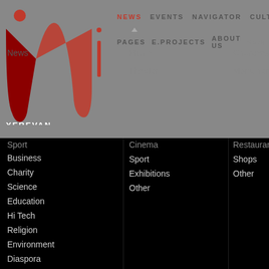[Figure (logo): iM Yerevan logo - red dot above stylized red/dark 'im' letters with YEREVAN text below]
NEWS   EVENTS   NAVIGATOR   CULTURE   SO...
PAGES   E.PROJECTS   ABOUT US   Navigator
News
Music
Churches
Sport
Theater
Monuments
Business
Cinema
Restaurants
Charity
Sport
Shops
Science
Exhibitions
Other
Education
Other
Hi Tech
Religion
Environment
Diaspora
IMHO
Pages
Projects
Diaries
Expertise